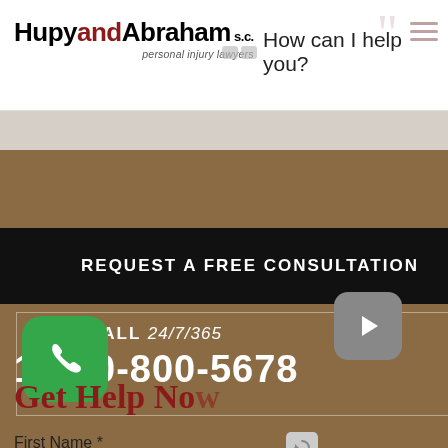HupyandAbraham s.c. personal injury lawyers — How can I help you?
REQUEST A FREE CONSULTATION
CALL 24/7/365
1-800-800-5678
[Figure (other): Play button icon (gray rounded rectangle with right-pointing triangle)]
[Figure (other): Green phone call button with white telephone handset icon]
Car Accident
Accidents (All kinds)
Police Accident
Get Help Now
First Name *
[Figure (other): Scroll button with heart/shield icon and text 'Scroll']